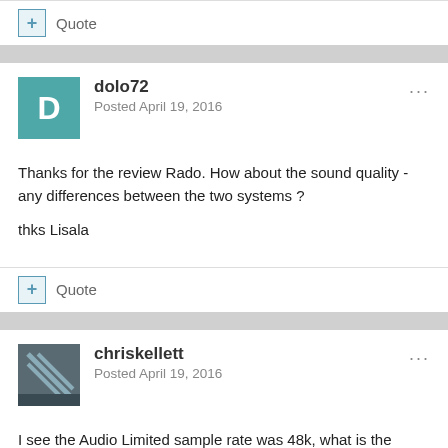+ Quote
dolo72
Posted April 19, 2016
Thanks for the review Rado. How about the sound quality - any differences between the two systems ?

thks Lisala
+ Quote
chriskellett
Posted April 19, 2016
I see the Audio Limited sample rate was 48k, what is the Zaxcom